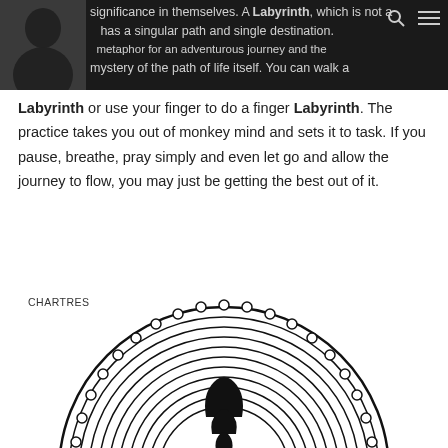significance in themselves. A Labyrinth, which is not a maze, has a singular path and single destination. [It is a] metaphor for an adventurous journey and the mystery of the path of life itself. You can walk a
Labyrinth or use your finger to do a finger Labyrinth. The practice takes you out of monkey mind and sets it to task. If you pause, breathe, pray simply and even let go and allow the journey to flow, you may just be getting the best out of it.
[Figure (illustration): Chartres labyrinth diagram — a circular labyrinth with a toothed outer edge and a cross-shaped centre, shown in black and white. Label 'CHARTRES' appears at upper left.]